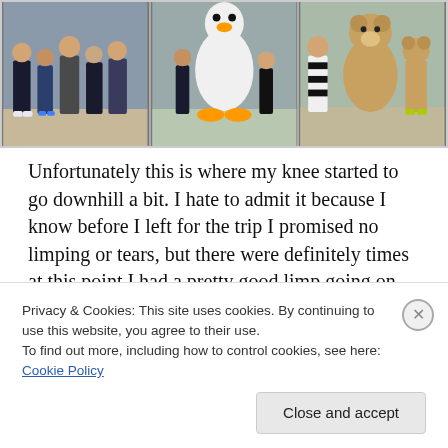[Figure (photo): A strip of three photos showing groups of runners/participants in costumes including a duck mascot and bear costume at what appears to be a race event.]
Unfortunately this is where my knee started to go downhill a bit.  I hate to admit it because I know before I left for the trip I promised no limping or tears, but there were definitely times at this point I had a pretty good limp going on.
I kept hoping the walk breaks would revive my knee as they had done earlier in the race, but at this point I couldn't
Privacy & Cookies: This site uses cookies. By continuing to use this website, you agree to their use.
To find out more, including how to control cookies, see here: Cookie Policy